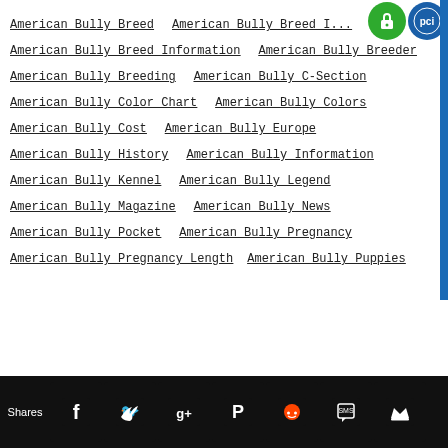American Bully Breed
American Bully Breed I...
American Bully Breed Information
American Bully Breeder
American Bully Breeding
American Bully C-Section
American Bully Color Chart
American Bully Colors
American Bully Cost
American Bully Europe
American Bully History
American Bully Information
American Bully Kennel
American Bully Legend
American Bully Magazine
American Bully News
American Bully Pocket
American Bully Pregnancy
American Bully Pregnancy Length
American Bully Puppies
Shares [social share buttons: Facebook, Twitter, Google+, Pinterest, Reddit, SMS, Crown]